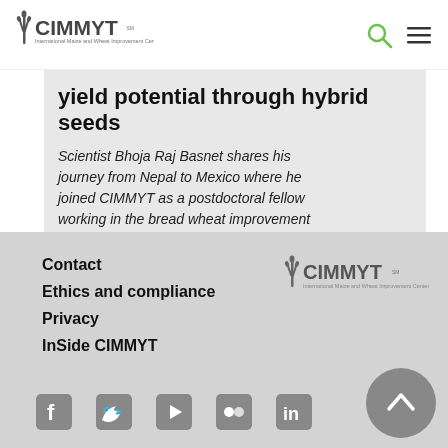CIMMYT — International Maize and Wheat Improvement Center
yield potential through hybrid seeds
Scientist Bhoja Raj Basnet shares his journey from Nepal to Mexico where he joined CIMMYT as a postdoctoral fellow working in the bread wheat improvement program.
Contact | Ethics and compliance | Privacy | InSide CIMMYT
[Figure (logo): CIMMYT logo — International Maize and Wheat Improvement Center, footer version]